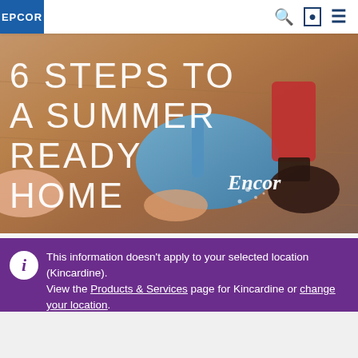EPCOR
[Figure (photo): Hero banner image showing a person cleaning a floor with a blue dustpan and a red/dark brush on a wooden floor surface, with large text overlay reading '6 STEPS TO A SUMMER READY HOME' and 'Encor' brand logo]
6 STEPS TO A SUMMER READY HOME
This information doesn't apply to your selected location (Kincardine). View the Products & Services page for Kincardine or change your location.